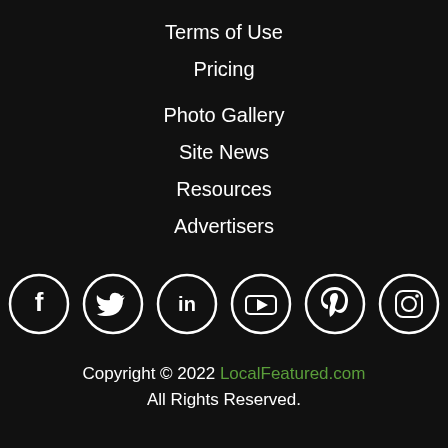Terms of Use
Pricing
Photo Gallery
Site News
Resources
Advertisers
[Figure (illustration): Row of 6 social media icon circles: Facebook, Twitter, LinkedIn, YouTube, Pinterest, Instagram]
Copyright © 2022 LocalFeatured.com All Rights Reserved.